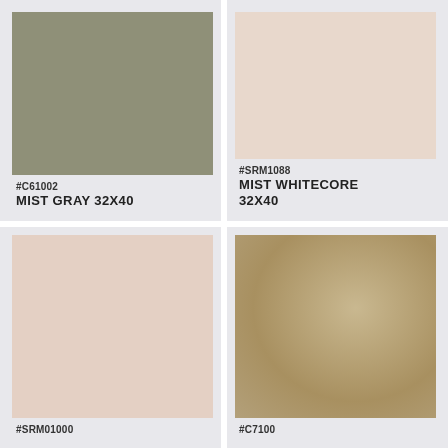[Figure (illustration): Color swatch card for Mist Gray 32x40, showing a sage/olive gray colored rectangle]
#C61002
MIST GRAY 32X40
[Figure (illustration): Color swatch card for Mist Whitecore 32x40, showing a light pinkish-beige colored rectangle]
#SRM1088
MIST WHITECORE 32X40
[Figure (illustration): Color swatch card (bottom left), showing a very light pink-beige colored rectangle]
#SRM01000 (partially visible)
[Figure (illustration): Color swatch card (bottom right), showing a tan/khaki mottled colored rectangle]
#C7100 (partially visible)